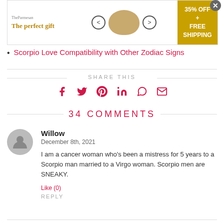[Figure (other): Advertisement banner: 'The perfect gift' with bowl image, navigation arrows, 35% OFF + FREE SHIPPING offer, and close button]
Scorpio Love Compatibility with Other Zodiac Signs
SHARE THIS
[Figure (other): Social media sharing icons: Facebook, Twitter, Pinterest, LinkedIn, WhatsApp, Email]
34 COMMENTS
Willow
December 8th, 2021
I am a cancer woman who's been a mistress for 5 years to a Scorpio man married to a Virgo woman. Scorpio men are SNEAKY.
Like (0)
REPLY